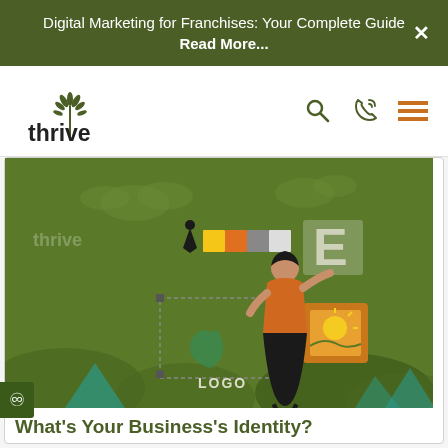Digital Marketing for Franchises: Your Complete Guide Read More...
[Figure (logo): Thrive Internet Marketing Agency logo with green leaf/plant icon]
[Figure (illustration): Green background illustration showing a woman designing brand identity elements including a logo, color palette, typography (letter E), and image frame. Thrive watermark visible. Text 'LOGO' shown on design board.]
What's Your Business's Identity?